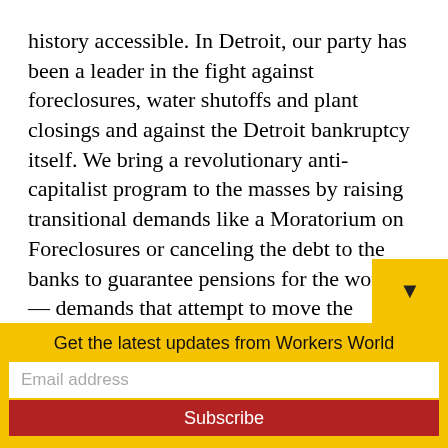history accessible. In Detroit, our party has been a leader in the fight against foreclosures, water shutoffs and plant closings and against the Detroit bankruptcy itself. We bring a revolutionary anti-capitalist program to the masses by raising transitional demands like a Moratorium on Foreclosures or canceling the debt to the banks to guarantee pensions for the workers — demands that attempt to move the workers in the direction of challenging the system.
Get the latest updates from Workers World
Email address
Subscribe